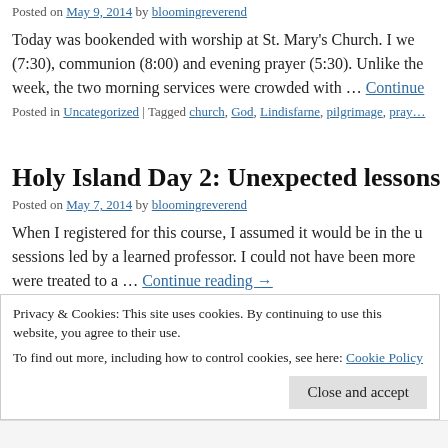Posted on May 9, 2014 by bloomingreverend
Today was bookended with worship at St. Mary's Church. I we… (7:30), communion (8:00) and evening prayer (5:30). Unlike the week, the two morning services were crowded with … Continue reading →
Posted in Uncategorized | Tagged church, God, Lindisfarne, pilgrimage, pray…
Holy Island Day 2: Unexpected lessons
Posted on May 7, 2014 by bloomingreverend
When I registered for this course, I assumed it would be in the u… sessions led by a learned professor. I could not have been more … were treated to a … Continue reading →
Privacy & Cookies: This site uses cookies. By continuing to use this website, you agree to their use.
To find out more, including how to control cookies, see here: Cookie Policy